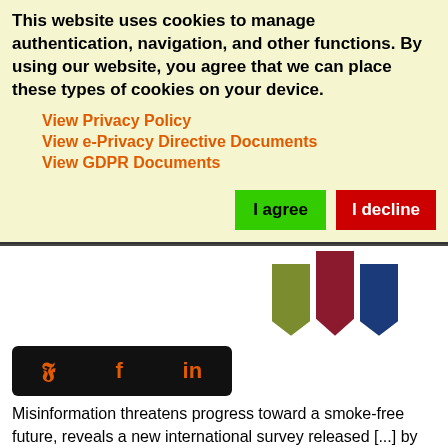This website uses cookies to manage authentication, navigation, and other functions. By using our website, you agree that we can place these types of cookies on your device.
View Privacy Policy
View e-Privacy Directive Documents
View GDPR Documents
[Figure (logo): Three downward-pointing bookmark-shaped bars in olive green, dark red, and dark blue — part of a website logo]
[Figure (infographic): Black rounded rectangle social sharing bar with Twitter (y), Facebook (f), and LinkedIn (in) icons in orange]
Misinformation threatens progress toward a smoke-free future, reveals a new international survey released [...] by Philip Morris International Inc. (PMI) (NYSE: PM). Well-funded groups continue to promote false narratives and spread